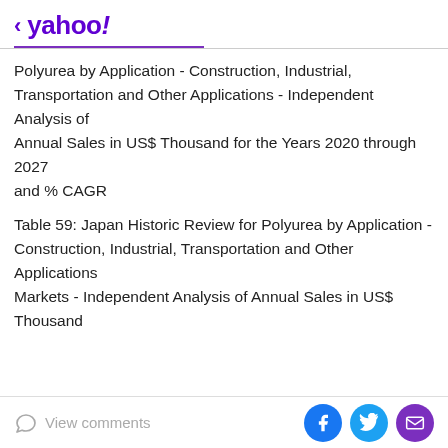< yahoo!
Polyurea by Application - Construction, Industrial, Transportation and Other Applications - Independent Analysis of Annual Sales in US$ Thousand for the Years 2020 through 2027 and % CAGR
Table 59: Japan Historic Review for Polyurea by Application - Construction, Industrial, Transportation and Other Applications Markets - Independent Analysis of Annual Sales in US$ Thousand
View comments